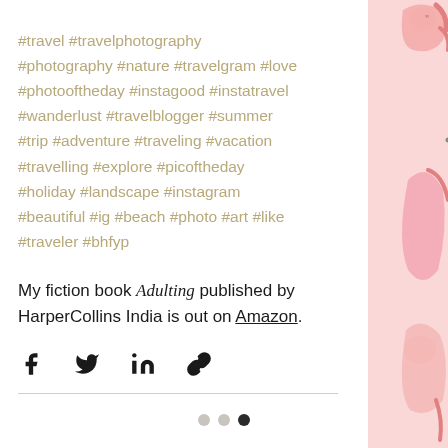#travel #travelphotography #photography #nature #travelgram #love #photooftheday #instagood #instatravel #wanderlust #travelblogger #summer #trip #adventure #traveling #vacation #travelling #explore #picoftheday #holiday #landscape #instagram #beautiful #ig #beach #photo #art #like #traveler #bhfyp
My fiction book Adulting published by HarperCollins India is out on Amazon.
[Figure (illustration): Pink decorative illustration on the right side showing abstract female figures]